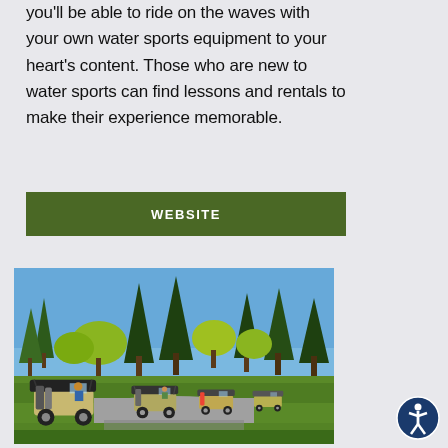you'll be able to ride on the waves with your own water sports equipment to your heart's content. Those who are new to water sports can find lessons and rentals to make their experience memorable.
WEBSITE
[Figure (photo): Several golf carts lined up on a paved path at a golf course, surrounded by green grass and tall trees under a blue sky.]